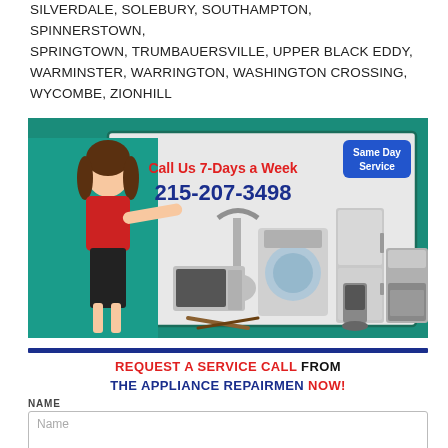SILVERDALE, SOLEBURY, SOUTHAMPTON, SPINNERSTOWN, SPRINGTOWN, TRUMBAUERSVILLE, UPPER BLACK EDDY, WARMINSTER, WARRINGTON, WASHINGTON CROSSING, WYCOMBE, ZIONHILL
[Figure (infographic): Appliance repair advertisement banner with a woman in red shirt pointing at appliances (vacuum, washing machine, refrigerator, stove, microwave, coffee maker). Text reads: Call Us 7-Days a Week 215-207-3498. Same Day Service badge on the right.]
REQUEST A SERVICE CALL FROM THE APPLIANCE REPAIRMEN NOW!
NAME
Name
PHONE
Phone